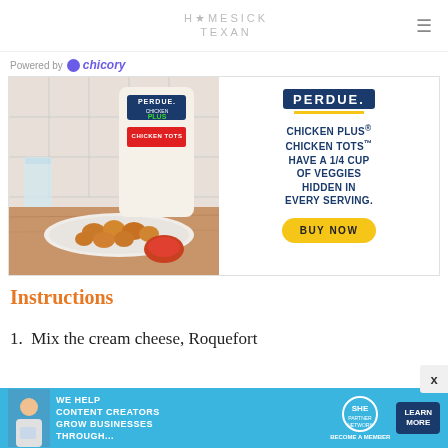HOMESICK TEXAN
Powered by Chicory
[Figure (photo): Perdue Chicken Plus Chicken Tots advertisement showing product bag on left with chicken tots on a plate, and promotional text on right: PERDUE. CHICKEN PLUS® CHICKEN TOTS™ HAVE A 1/4 CUP OF VEGGIES HIDDEN IN EVERY SERVING. BUY NOW button.]
Instructions
1.  Mix the cream cheese, Roquefort
[Figure (photo): Bottom banner advertisement: WE HELP CONTENT CREATORS GROW BUSINESSES THROUGH... SHE PARTNER NETWORK BECOME A MEMBER. LEARN MORE button.]